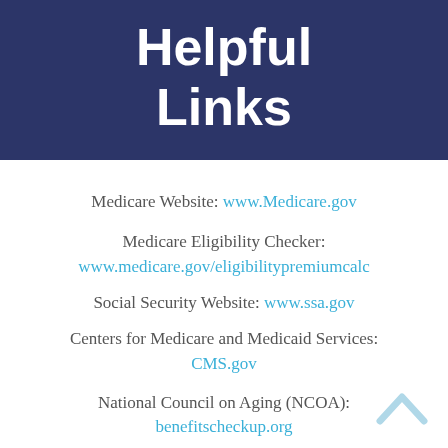Helpful Links
Medicare Website: www.Medicare.gov
Medicare Eligibility Checker: www.medicare.gov/eligibilitypremiumcalc
Social Security Website: www.ssa.gov
Centers for Medicare and Medicaid Services: CMS.gov
National Council on Aging (NCOA): benefitscheckup.org
Dental Discount Plans: